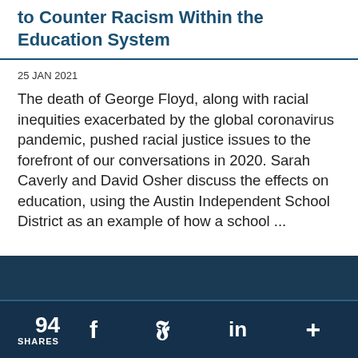to Counter Racism Within the Education System
25 JAN 2021
The death of George Floyd, along with racial inequities exacerbated by the global coronavirus pandemic, pushed racial justice issues to the forefront of our conversations in 2020. Sarah Caverly and David Osher discuss the effects on education, using the Austin Independent School District as an example of how a school ...
94 SHARES